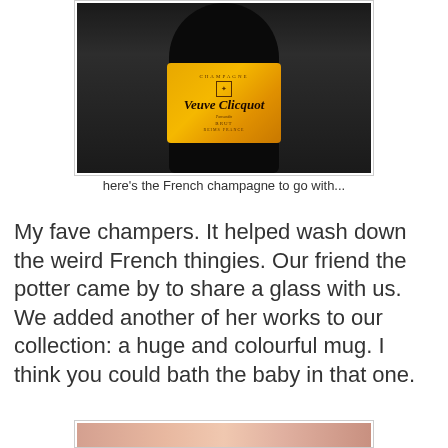[Figure (photo): Veuve Clicquot champagne bottle with distinctive orange label on dark background]
here’s the French champagne to go with...
My fave champers.  It helped wash down the weird French thingies. Our friend the potter came by to share a glass with us.  We added another of her works to our collection: a huge and colourful mug.  I think you could bath the baby in that one.
[Figure (photo): Partial view of another photo at the bottom of the page]